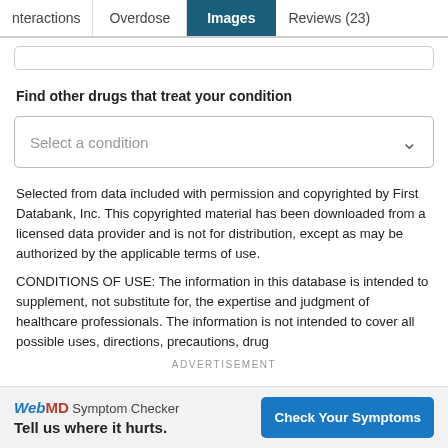Interactions | Overdose | Images | Reviews (23)
Find other drugs that treat your condition
Select a condition
Selected from data included with permission and copyrighted by First Databank, Inc. This copyrighted material has been downloaded from a licensed data provider and is not for distribution, except as may be authorized by the applicable terms of use.
CONDITIONS OF USE: The information in this database is intended to supplement, not substitute for, the expertise and judgment of healthcare professionals. The information is not intended to cover all possible uses, directions, precautions, drug
ADVERTISEMENT
WebMD Symptom Checker Tell us where it hurts. Check Your Symptoms